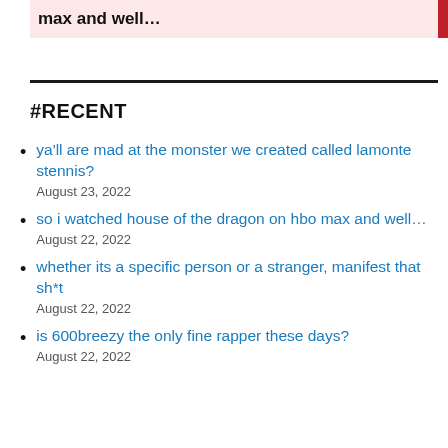max and well…
#RECENT
ya'll are mad at the monster we created called lamonte stennis?
August 23, 2022
so i watched house of the dragon on hbo max and well…
August 22, 2022
whether its a specific person or a stranger, manifest that sh*t
August 22, 2022
is 600breezy the only fine rapper these days?
August 22, 2022